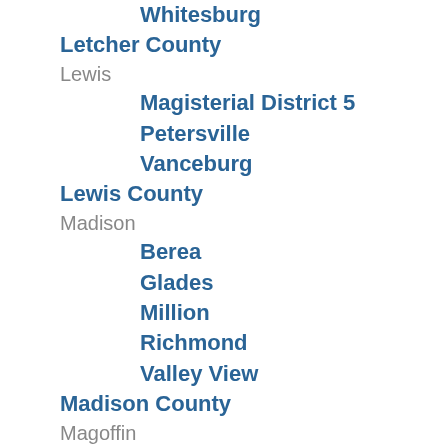Whitesburg
Letcher County
Lewis
Magisterial District 5
Petersville
Vanceburg
Lewis County
Madison
Berea
Glades
Million
Richmond
Valley View
Madison County
Magoffin
Salyersville
Magoffin County
Mason
Maysville
Shannon
Mason County
McCracken
West Paducah